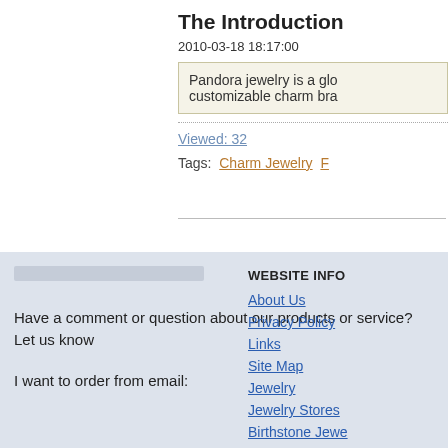The Introduction
2010-03-18 18:17:00
Pandora jewelry is a glo customizable charm bra
Viewed: 32
Tags:  Charm Jewelry  F
Have a comment or question about our products or service? Let us know
I want to order from email:
WEBSITE INFO
About Us
Privacy Policy
Links
Site Map
Jewelry
Jewelry Stores
Birthstone Jewe